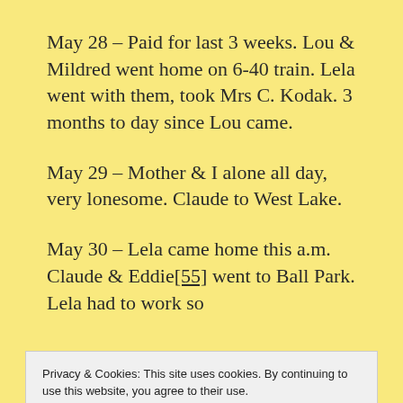May 28 – Paid for last 3 weeks. Lou & Mildred went home on 6-40 train. Lela went with them, took Mrs C. Kodak. 3 months to day since Lou came.
May 29 – Mother & I alone all day, very lonesome. Claude to West Lake.
May 30 – Lela came home this a.m. Claude & Eddie[55] went to Ball Park. Lela had to work so
Privacy & Cookies: This site uses cookies. By continuing to use this website, you agree to their use.
To find out more, including how to control cookies, see here:
Cookie Policy
of house. Claude went up to Burg